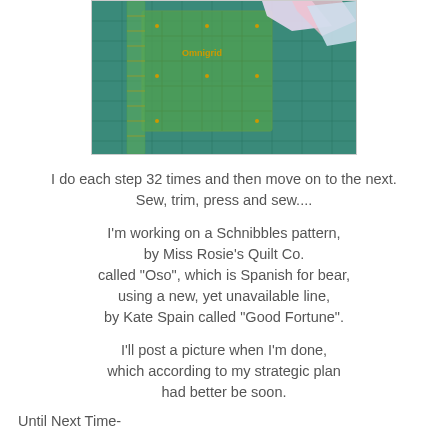[Figure (photo): Photo of an Omnigrid quilting ruler and cutting mat with fabric pieces on a wooden surface]
I do each step 32 times and then move on to the next. Sew, trim, press and sew....
I'm working on a Schnibbles pattern, by Miss Rosie's Quilt Co. called "Oso", which is Spanish for bear, using a new, yet unavailable line, by Kate Spain called "Good Fortune".
I'll post a picture when I'm done, which according to my strategic plan had better be soon.
Until Next Time-